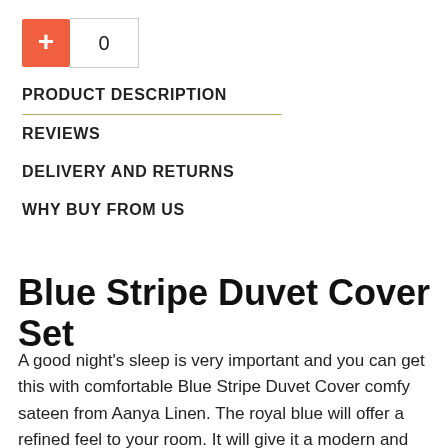[Figure (other): E-commerce quantity selector: orange plus button and quantity input box showing 0]
PRODUCT DESCRIPTION
REVIEWS
DELIVERY AND RETURNS
WHY BUY FROM US
Blue Stripe Duvet Cover Set
A good night's sleep is very important and you can get this with comfortable Blue Stripe Duvet Cover comfy sateen from Aanya Linen. The royal blue will offer a refined feel to your room. It will give it a modern and elegant touch to the decor. This Stripe royal blue duvet cover is simply perfect for complimenting